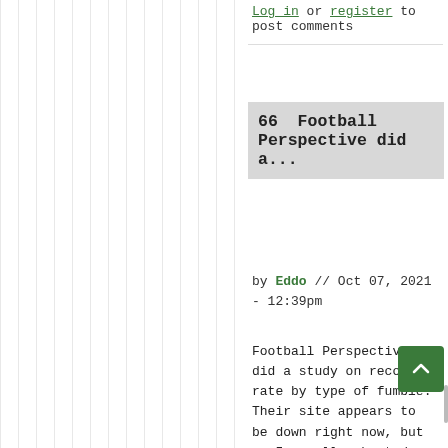Log in or register to post comments
66  Football Perspective did a...
by Eddo // Oct 07, 2021 - 12:39pm
Football Perspective did a study on recovery rate by type of fumble. Their site appears to be down right now, but as I recall, aborted snaps were recovered by the offense more, while WR fumbles were more likely to be recovered by the defense. I think